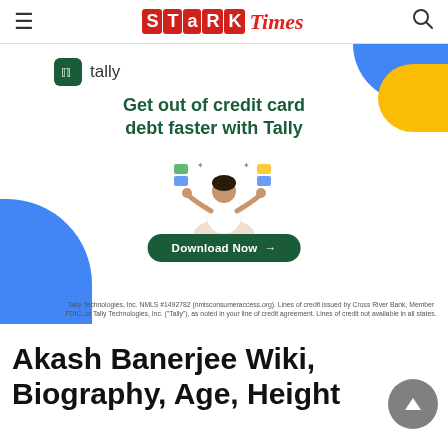Stark Times
[Figure (infographic): Tally advertisement banner: 'Get out of credit card debt faster with Tally' with a meditation figure juggling cards and a Download Now button. Disclaimer text: Tally Technologies, Inc. NMLS #1492782 (nmlsconsumeraccess.org). Lines of credit issued by Cross River Bank, Member FDIC, or Tally Technologies, Inc. ('Tally'), as noted in your line of credit agreement. Lines of credit not available in all states.]
Akash Banerjee Wiki, Biography, Age, Height